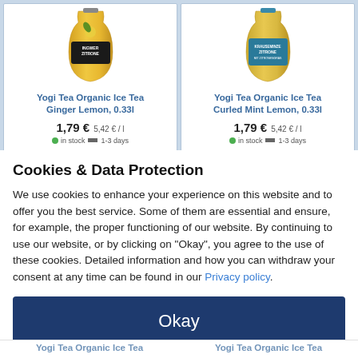[Figure (photo): Yogi Tea Organic Ice Tea Ginger Lemon 0.33l bottle in yellow packaging with black label]
Yogi Tea Organic Ice Tea Ginger Lemon, 0.33l
1,79 €  5,42 € / l
in stock  1-3 days
[Figure (photo): Yogi Tea Organic Ice Tea Curled Mint Lemon 0.33l bottle in light blue/teal packaging]
Yogi Tea Organic Ice Tea Curled Mint Lemon, 0.33l
1,79 €  5,42 € / l
in stock  1-3 days
Cookies & Data Protection
We use cookies to enhance your experience on this website and to offer you the best service. Some of them are essential and ensure, for example, the proper functioning of our website. By continuing to use our website, or by clicking on "Okay", you agree to the use of these cookies. Detailed information and how you can withdraw your consent at any time can be found in our Privacy policy.
Okay
Cookie settings
Yogi Tea Organic Ice Tea
Yogi Tea Organic Ice Tea